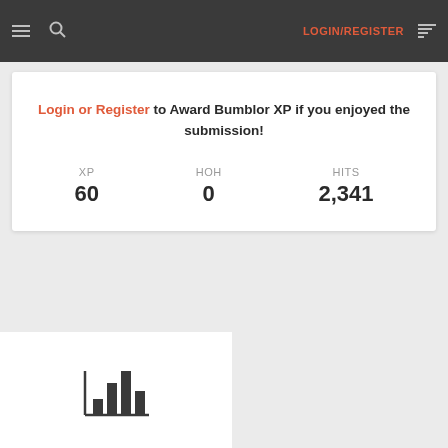LOGIN/REGISTER
Login or Register to Award Bumblor XP if you enjoyed the submission!
| XP | HOH | HITS |
| --- | --- | --- |
| 60 | 0 | 2,341 |
[Figure (other): Bar chart icon showing vertical bars on a baseline]